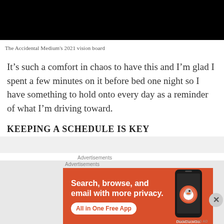[Figure (photo): Black image area at top of page, partially cropped]
The Accidental Medium's 2021 vision board
It’s such a comfort in chaos to have this and I’m glad I spent a few minutes on it before bed one night so I have something to hold onto every day as a reminder of what I’m driving toward.
KEEPING A SCHEDULE IS KEY
Advertisements
Advertisements
[Figure (screenshot): DuckDuckGo advertisement banner with orange background. Text reads: Search, browse, and email with more privacy. All in One Free App. Shows a phone with DuckDuckGo logo.]